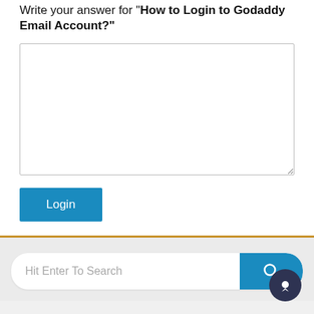Write your answer for "How to Login to Godaddy Email Account?"
[Figure (screenshot): Empty textarea input box for writing an answer]
[Figure (screenshot): Blue Login button]
[Figure (screenshot): Search bar with placeholder text 'Hit Enter To Search' and a blue search button with magnifying glass icon]
[Figure (screenshot): Dark blue circular chat/support bubble button in bottom right corner]